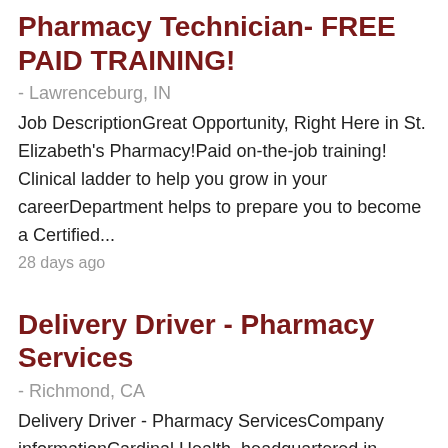Pharmacy Technician- FREE PAID TRAINING!
- Lawrenceburg, IN
Job DescriptionGreat Opportunity, Right Here in St. Elizabeth's Pharmacy!Paid on-the-job training! Clinical ladder to help you grow in your careerDepartment helps to prepare you to become a Certified...
28 days ago
Delivery Driver - Pharmacy Services
- Richmond, CA
Delivery Driver - Pharmacy ServicesCompany informationCardinal Health, headquartered in Dublin, Ohio, is a Fortune 15 company with more than 50,000 employees worldwide. We deliver the pharmaceuticals that...